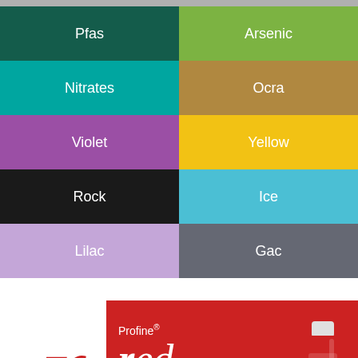| Category | Category |
| --- | --- |
| Pfas | Arsenic |
| Nitrates | Ocra |
| Violet | Yellow |
| Rock | Ice |
| Lilac | Gac |
[Figure (illustration): Profine red product banner with large red italic 'r' logo on white left panel, red background, text 'Profine® red' and 'Prefiltration in water' with a water filter bottle illustration on right]
This website uses cookies to improve your experience. By continuing to browse the site, you are agreeing to our use of cookies.
Accept
Read More